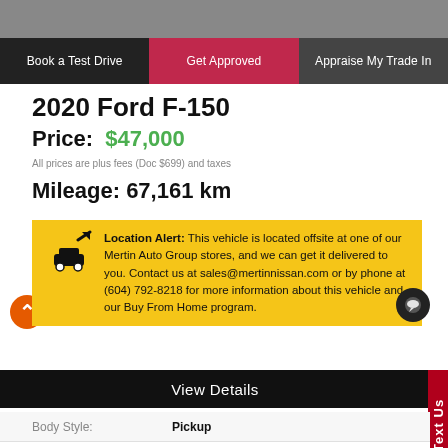[Figure (photo): Partial top image of a vehicle, cropped]
Book a Test Drive | Get Approved | Appraise My Trade In
2020 Ford F-150
Price: $47,000
All prices are plus fees (Doc $699) and taxes
Mileage: 67,161 km
Location Alert: This vehicle is located offsite at one of our Mertin Auto Group stores, and we can get it delivered to you. Contact us at sales@mertinnissan.com or by phone at (604) 792-8218 for more information about this vehicle and our Buy From Home program.
View Details
|  |  |
| --- | --- |
| Body Style: | Pickup |
| Engine: | 5.0L 8cyl |
| Exterior Colour: | Black |
| Transmission: | Automatic |
| Drivetrain: | 4x4 |